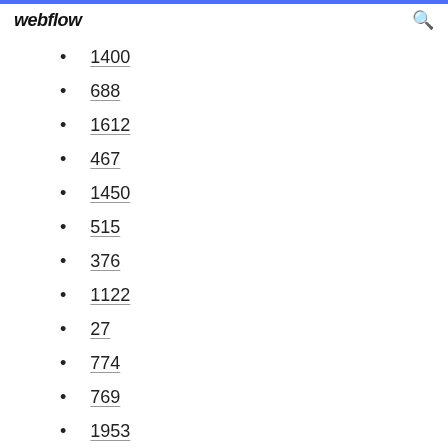webflow
1400
688
1612
467
1450
515
376
1122
27
774
769
1953
355